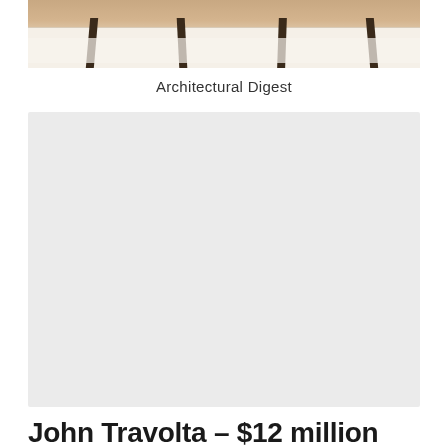[Figure (photo): Bottom portion of a photo showing furniture (chairs) on a rug, with a light-colored stone or tile floor visible, cropped at the top of the page]
Architectural Digest
[Figure (photo): A large light gray rectangular placeholder image area]
John Travolta – $12 million